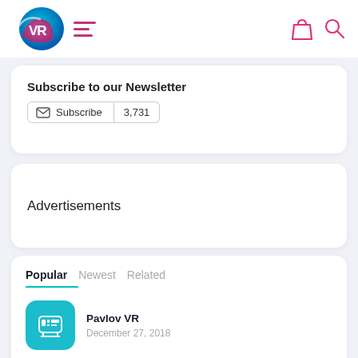[Figure (logo): VR logo with blue/pink gradient sphere and letters VR]
[Figure (screenshot): Hamburger menu icon with three pink lines]
[Figure (screenshot): Pink shopping bag icon and pink magnifying glass icon in top right nav]
Subscribe to our Newsletter
Subscribe  3,731
Advertisements
Popular  Newest  Related
Pavlov VR
December 27, 2018
Best VR Games for Kids
December 26, 2018